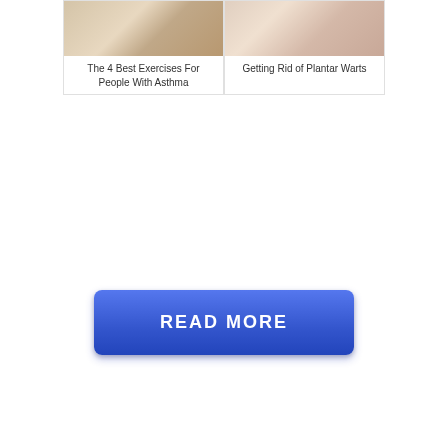[Figure (photo): Card thumbnail image for asthma exercises article — warm-toned photo of a person exercising]
The 4 Best Exercises For People With Asthma
[Figure (photo): Card thumbnail image for plantar warts article — close-up photo of a foot/skin]
Getting Rid of Plantar Warts
[Figure (other): Blue READ MORE button with gradient and shadow]